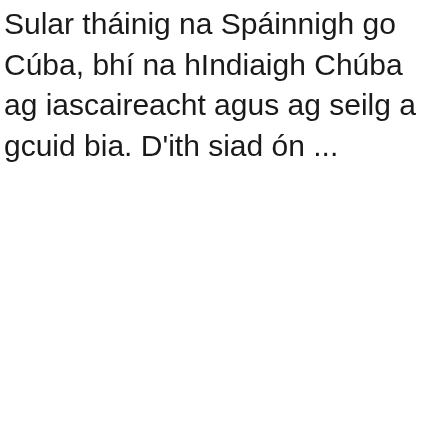Sular tháinig na Spáinnigh go Cúba, bhí na hIndiaigh Chúba ag iascaireacht agus ag seilg a gcuid bia. D'ith siad ón ...